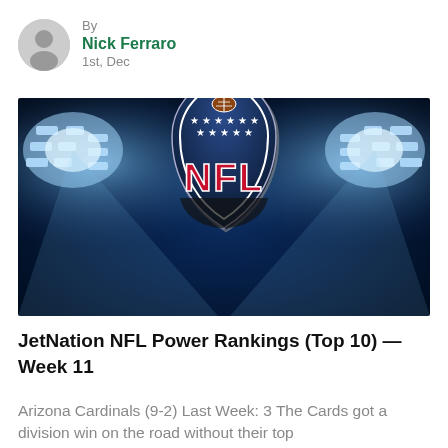By
Nick Ferraro
1st, Dec
[Figure (photo): NFL stadium with bright floodlights and the NFL shield logo centered against a dark blue/black background]
JetNation NFL Power Rankings (Top 10) — Week 11
Arizona Cardinals (9-2) Last Week: 3 The Cards got a division win on the road without their top